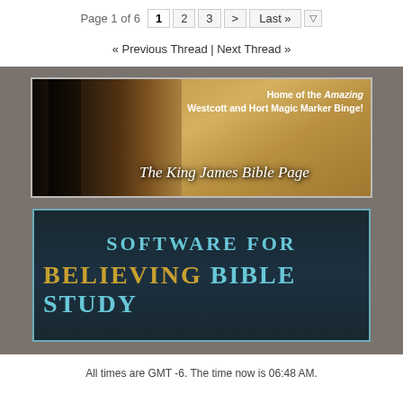Page 1 of 6  1  2  3  >  Last »
« Previous Thread | Next Thread »
[Figure (illustration): The King James Bible Page banner — image of a dark leather Bible spine on the left with golden-brown background, text reads 'Home of the Amazing Westcott and Hort Magic Marker Binge!' and 'The King James Bible Page' in italic serif font]
[Figure (illustration): Software for Believing Bible Study banner — dark blue/teal background with text 'SOFTWARE FOR BELIEVING BIBLE STUDY' where 'BELIEVING' is in gold and the rest in teal/cyan]
All times are GMT -6. The time now is 06:48 AM.